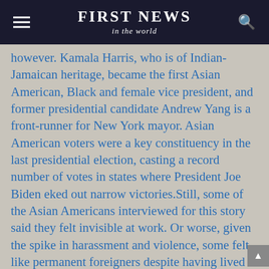FIRST NEWS in the world
however. Kamala Harris, who is of Indian-Jamaican heritage, became the first Asian American, Black and female vice president, and former presidential candidate Andrew Yang is a front-runner for New York mayor. Asian American voters were a key constituency in the last presidential election, casting a record number of votes in states where President Joe Biden eked out narrow victories.Still, some of the Asian Americans interviewed for this story said they felt invisible at work. Or worse, given the spike in harassment and violence, some felt like permanent foreigners despite having lived in the U.S. for decades. Most Americans can't name a single prominent living Asian American, according